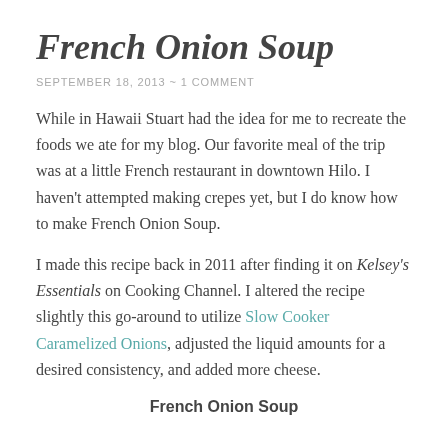French Onion Soup
SEPTEMBER 18, 2013  ~  1 COMMENT
While in Hawaii Stuart had the idea for me to recreate the foods we ate for my blog. Our favorite meal of the trip was at a little French restaurant in downtown Hilo. I haven't attempted making crepes yet, but I do know how to make French Onion Soup.
I made this recipe back in 2011 after finding it on Kelsey's Essentials on Cooking Channel. I altered the recipe slightly this go-around to utilize Slow Cooker Caramelized Onions, adjusted the liquid amounts for a desired consistency, and added more cheese.
French Onion Soup